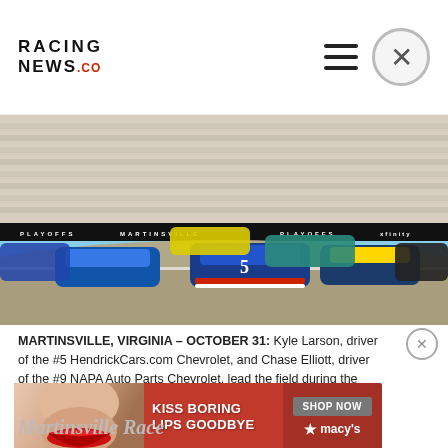RACING NEWS.CO
[Figure (photo): NASCAR Cup Series race at Martinsville Speedway showing multiple stock cars rounding a turn with packed grandstands in the background. Car #5 HendrickCars.com Chevrolet driven by Kyle Larson and #9 NAPA Auto Parts Chevrolet driven by Chase Elliott are prominent.]
MARTINSVILLE, VIRGINIA – OCTOBER 31: Kyle Larson, driver of the #5 HendrickCars.com Chevrolet, and Chase Elliott, driver of the #9 NAPA Auto Parts Chevrolet, lead the field during the NASCAR Cup Series Xfinity 500 at Martinsville Speedway on October 31, 2021 in Martinsville, Virginia.
[Figure (illustration): Macy's advertisement banner: KISS BORING LIPS GOODBYE with SHOP NOW button and Macy's star logo, featuring a woman's face with red lips.]
Martinsville Race